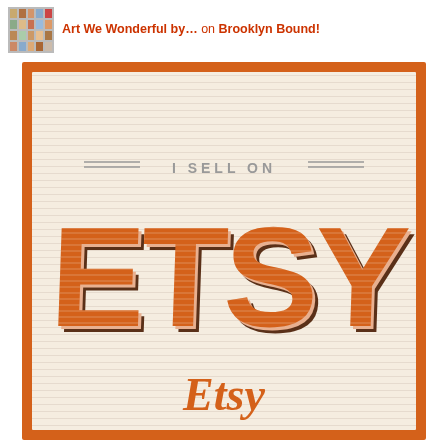Art We Wonderful by... on Brooklyn Bound!
[Figure (logo): Etsy 'I Sell On Etsy' promotional badge/banner with orange border, decorative horizontal line background, bold 3D-style 'ETSY' lettering in orange and brown with shadow effect, 'I SELL ON' header text with decorative double lines, and italic orange 'Etsy' wordmark at bottom.]